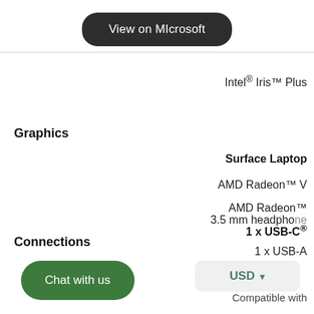View on Microsoft
Intel® Iris™ Plus
Graphics
Surface Laptop
AMD Radeon™ V
AMD Radeon™
1 x USB-C®
1 x USB-A
Connections
3.5 mm headphone
Chat with us
USD